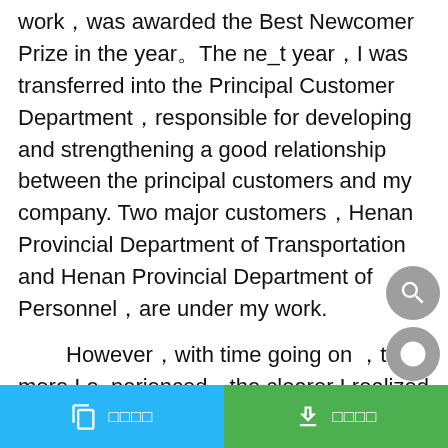work，was awarded the Best Newcomer Prize in the year。The ne_t year，I was transferred into the Principal Customer Department，responsible for developing and strengthening a good relationship between the principal customers and my company. Two major customers，Henan Provincial Department of Transportation and Henan Provincial Department of Personnel，are under my work.

However，with time going on ，the more I e_perienced，the clearer I realized that I'm really interested in the Enterprise Management .I find many enterprises have the problem of an unmatched management to its developing speed . I'm eager to learn more about management and I hope I can study further in this University.

So I resigned in August ， 2008 and started the way to
□□□□  □□□□